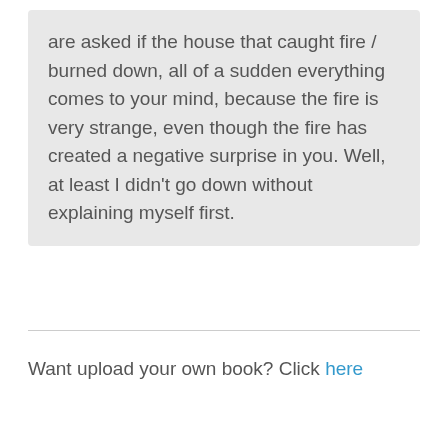are asked if the house that caught fire / burned down, all of a sudden everything comes to your mind, because the fire is very strange, even though the fire has created a negative surprise in you. Well, at least I didn't go down without explaining myself first.
Want upload your own book? Click here